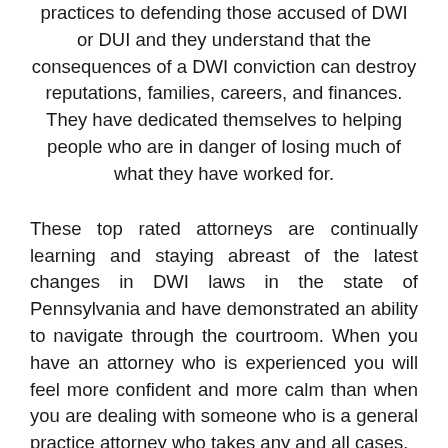practices to defending those accused of DWI or DUI and they understand that the consequences of a DWI conviction can destroy reputations, families, careers, and finances. They have dedicated themselves to helping people who are in danger of losing much of what they have worked for.
These top rated attorneys are continually learning and staying abreast of the latest changes in DWI laws in the state of Pennsylvania and have demonstrated an ability to navigate through the courtroom. When you have an attorney who is experienced you will feel more confident and more calm than when you are dealing with someone who is a general practice attorney who takes any and all cases.
Attorneys chosen must show they devote a significant